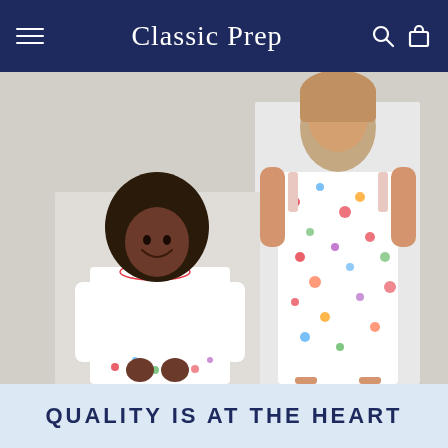Classic Prep
[Figure (photo): Two children modeling Classic Prep clothing — a younger girl in white long-sleeve top with peter pan collar and patterned shorts, and an older girl in a patterned sundress with thin shoulder straps. The print features colorful cartoon summer icons including ice cream, crabs, watermelon, and stars on a white background.]
QUALITY IS AT THE HEART